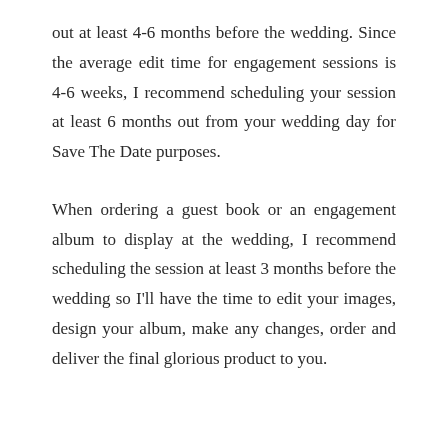out at least 4-6 months before the wedding. Since the average edit time for engagement sessions is 4-6 weeks, I recommend scheduling your session at least 6 months out from your wedding day for Save The Date purposes.
When ordering a guest book or an engagement album to display at the wedding, I recommend scheduling the session at least 3 months before the wedding so I'll have the time to edit your images, design your album, make any changes, order and deliver the final glorious product to you.